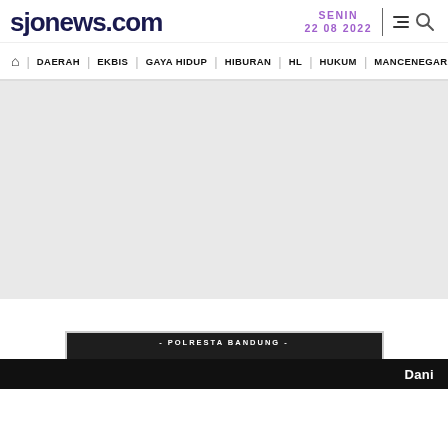sjonews.com | SENIN 22 08 2022
DAERAH | EKBIS | GAYA HIDUP | HIBURAN | HL | HUKUM | MANCENEGARA
[Figure (other): Advertisement / blank gray area]
[Figure (other): Bottom portion of a Polresta Bandung image stub with dark bar showing text 'Dani']